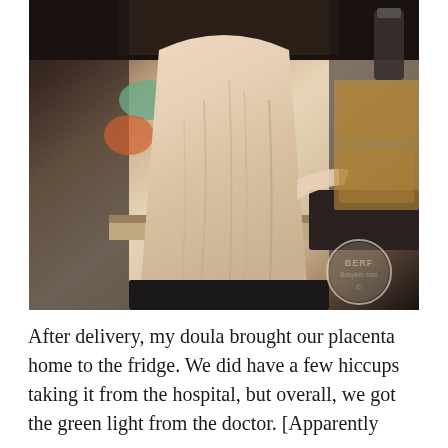[Figure (photo): A person seen from behind wearing a light pink/peach medical-style top or hospital gown, standing at a kitchen counter. They appear to be at a sink. The back of the garment is open/tied. A watermark circle reading 'BERF Babyker.com' is visible in the lower right of the photo.]
After delivery, my doula brought our placenta home to the fridge. We did have a few hiccups taking it from the hospital, but overall, we got the green light from the doctor. [Apparently